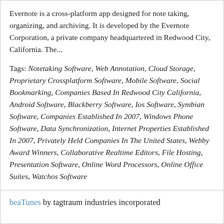Evernote is a cross-platform app designed for note taking, organizing, and archiving. It is developed by the Evernote Corporation, a private company headquartered in Redwood City, California. The...
Tags: Notetaking Software, Web Annotation, Cloud Storage, Proprietary Crossplatform Software, Mobile Software, Social Bookmarking, Companies Based In Redwood City California, Android Software, Blackberry Software, Ios Software, Symbian Software, Companies Established In 2007, Windows Phone Software, Data Synchronization, Internet Properties Established In 2007, Privately Held Companies In The United States, Webby Award Winners, Collaborative Realtime Editors, File Hosting, Presentation Software, Online Word Processors, Online Office Suites, Watchos Software
beaTunes by tagtraum industries incorporated